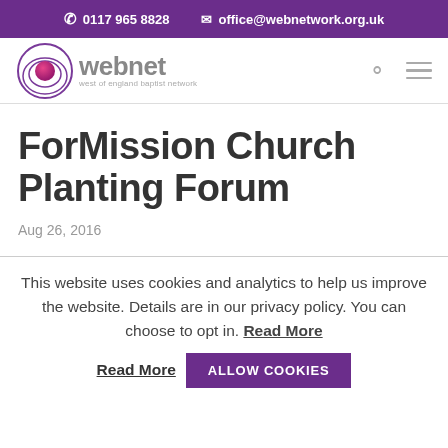✆ 0117 965 8828   ✉ office@webnetwork.org.uk
[Figure (logo): Webnet logo — circular purple/pink swirl icon with 'webnet' text and subtitle 'west of england baptist network']
ForMission Church Planting Forum
Aug 26, 2016
This website uses cookies and analytics to help us improve the website. Details are in our privacy policy. You can choose to opt in. Read More  ALLOW COOKIES